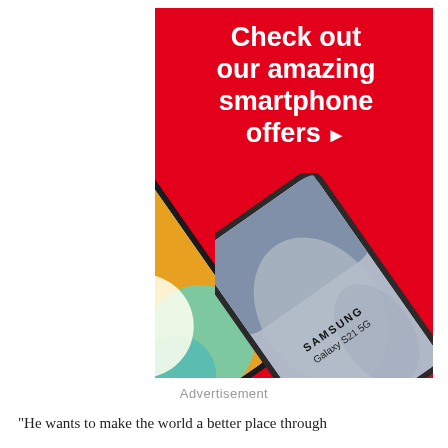[Figure (photo): Advertisement banner with red background showing two Samsung smartphones (a colorful wallpaper phone on the left and a Samsung Galaxy S21 5G on the right), with white bold text reading 'Check out our amazing smartphone offers ▶']
Advertisement
"He wants to make the world a better place through